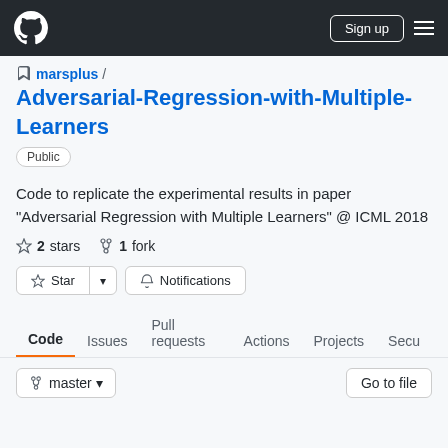GitHub navigation header with logo, Sign up button, and hamburger menu
marsplus /
Adversarial-Regression-with-Multiple-Learners
Public
Code to replicate the experimental results in paper "Adversarial Regression with Multiple Learners" @ ICML 2018
2 stars   1 fork
Star  Notifications
Code  Issues  Pull requests  Actions  Projects  Secu
master  Go to file